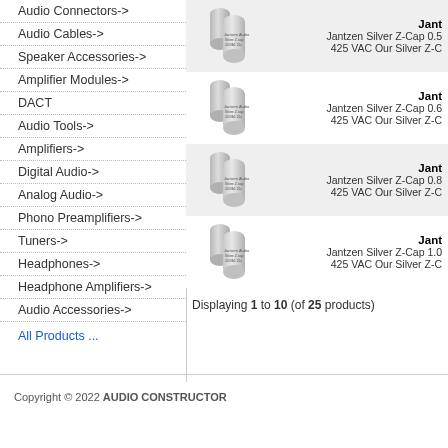Audio Connectors->
Audio Cables->
Speaker Accessories->
Amplifier Modules->
DACT
Audio Tools->
Amplifiers->
Digital Audio->
Analog Audio->
Phono Preamplifiers->
Tuners->
Headphones->
Headphone Amplifiers->
Audio Accessories->
All Products ...
[Figure (photo): Jantzen Silver Z-Cap capacitor product image]
Jantzen Silver Z-Cap 0.5
425 VAC Our Silver Z-C
[Figure (photo): Jantzen Silver Z-Cap capacitor product image]
Jantzen Silver Z-Cap 0.6
425 VAC Our Silver Z-C
[Figure (photo): Jantzen Silver Z-Cap capacitor product image]
Jantzen Silver Z-Cap 0.8
425 VAC Our Silver Z-C
[Figure (photo): Jantzen Silver Z-Cap capacitor product image]
Jantzen Silver Z-Cap 1.0
425 VAC Our Silver Z-C
Displaying 1 to 10 (of 25 products)
Copyright © 2022 AUDIO CONSTRUCTOR